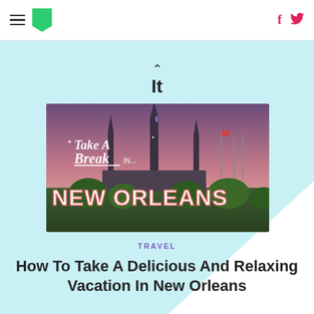HuffPost navigation with hamburger menu, logo, Facebook and Twitter icons
It
[Figure (photo): Promotional image for New Orleans travel article. Shows Jackson Square cathedral spires, a statue, and trees at dusk with pink/purple sky. Text overlay reads 'Take A Break in... NEW ORLEANS' in retro-style lettering.]
TRAVEL
How To Take A Delicious And Relaxing Vacation In New Orleans